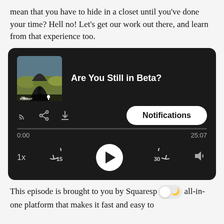mean that you have to hide in a closet until you've done your time? Hell no! Let's get our work out there, and learn from that experience too.
[Figure (screenshot): Podcast player UI card with dark background showing 'Are You Still in Beta?' podcast episode, album art, notification button, progress bar showing 0:00 to 25:07, playback controls including 1x speed, skip back 15, play button, skip forward 30, and volume icon.]
This episode is brought to you by Squaresp... all-in-one platform that makes it fast and easy to